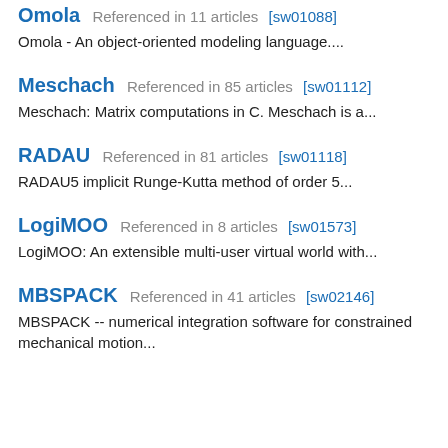Omola  Referenced in 11 articles [sw01088]
Omola - An object-oriented modeling language....
Meschach  Referenced in 85 articles [sw01112]
Meschach: Matrix computations in C. Meschach is a...
RADAU  Referenced in 81 articles [sw01118]
RADAU5 implicit Runge-Kutta method of order 5...
LogiMOO  Referenced in 8 articles [sw01573]
LogiMOO: An extensible multi-user virtual world with...
MBSPACK  Referenced in 41 articles [sw02146]
MBSPACK -- numerical integration software for constrained mechanical motion...